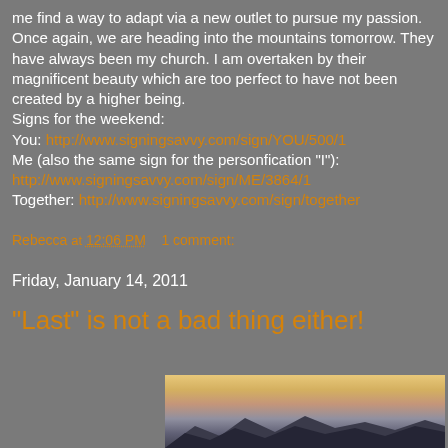me find a way to adapt via a new outlet to pursue my passion.
Once again, we are heading into the mountains tomorrow. They have always been my church. I am overtaken by their magnificent beauty which are too perfect to have not been created by a higher being.
Signs for the weekend:
You: http://www.signingsavvy.com/sign/YOU/500/1
Me (also the same sign for the personfication "I"):
http://www.signingsavvy.com/sign/ME/3864/1
Together: http://www.signingsavvy.com/sign/together
Rebecca at 12:06 PM    1 comment:
Friday, January 14, 2011
"Last" is not a bad thing either!
[Figure (photo): Mountain landscape photo showing mountain silhouettes against a warm sunset/dusk sky with clouds]